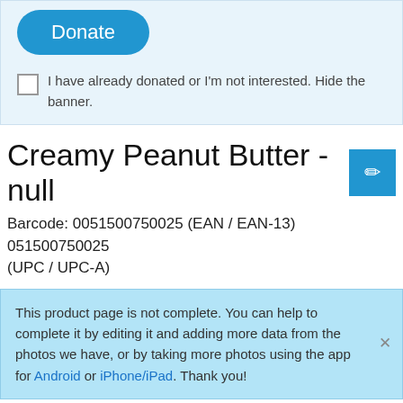[Figure (screenshot): Donate button (blue rounded rectangle) with text 'Donate']
I have already donated or I'm not interested. Hide the banner.
Creamy Peanut Butter - null
Barcode: 0051500750025 (EAN / EAN-13) 051500750025 (UPC / UPC-A)
This product page is not complete. You can help to complete it by editing it and adding more data from the photos we have, or by taking more photos using the app for Android or iPhone/iPad. Thank you!
Nutri-Score E
NUTRI-SCORE